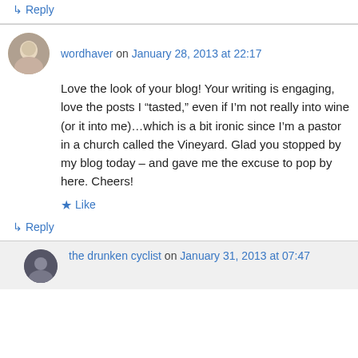↳ Reply
wordhaver on January 28, 2013 at 22:17
Love the look of your blog! Your writing is engaging, love the posts I “tasted,” even if I’m not really into wine (or it into me)…which is a bit ironic since I’m a pastor in a church called the Vineyard. Glad you stopped by my blog today – and gave me the excuse to pop by here. Cheers!
★ Like
↳ Reply
the drunken cyclist on January 31, 2013 at 07:47